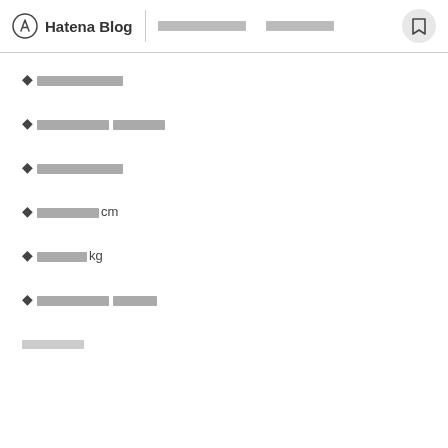Hatena Blog | [nav links] [bookmark]
◆□□□□□□□□□
◆□□□□□□□□□□□□□□
◆□□□□□□□□□
◆□□□□□□cm
◆□□□□□kg
◆□□□□□□□□□□□□□□
□□□□□□□